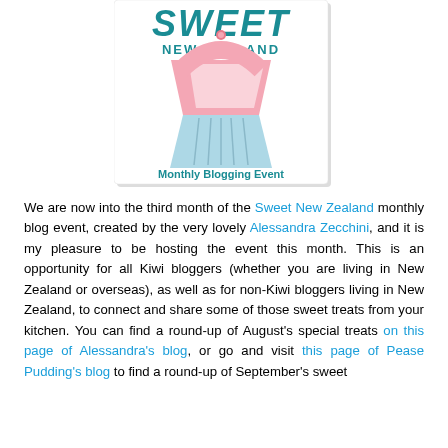[Figure (illustration): Sweet New Zealand Monthly Blogging Event logo — a stylized cupcake with pink frosting on a light blue base, with the text 'SWEET' in teal bold letters at top, 'NEW ZEALAND' below it, and 'Monthly Blogging Event' at the bottom, inside a white box with a light shadow border.]
We are now into the third month of the Sweet New Zealand monthly blog event, created by the very lovely Alessandra Zecchini, and it is my pleasure to be hosting the event this month. This is an opportunity for all Kiwi bloggers (whether you are living in New Zealand or overseas), as well as for non-Kiwi bloggers living in New Zealand, to connect and share some of those sweet treats from your kitchen. You can find a round-up of August's special treats on this page of Alessandra's blog, or go and visit this page of Pease Pudding's blog to find a round-up of September's sweet